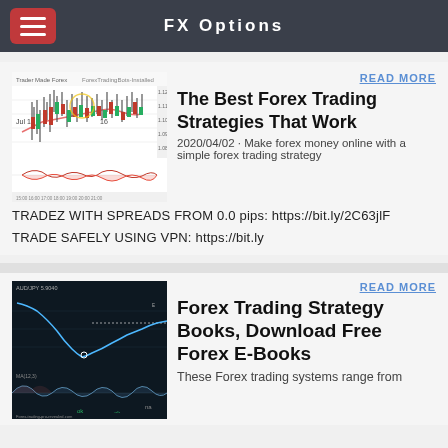FX Options
[Figure (screenshot): Forex candlestick chart with technical indicators, dated Jul 14-16]
READ MORE
The Best Forex Trading Strategies That Work
2020/04/02 · Make forex money online with a simple forex trading strategy
TRADEZ WITH SPREADS FROM 0.0 pips: https://bit.ly/2C63jlF
TRADE SAFELY USING VPN: https://bit.ly
[Figure (screenshot): Dark-themed forex trading chart with moving averages and oscillator, showing ok/na markers]
READ MORE
Forex Trading Strategy Books, Download Free Forex E-Books
These Forex trading systems range from